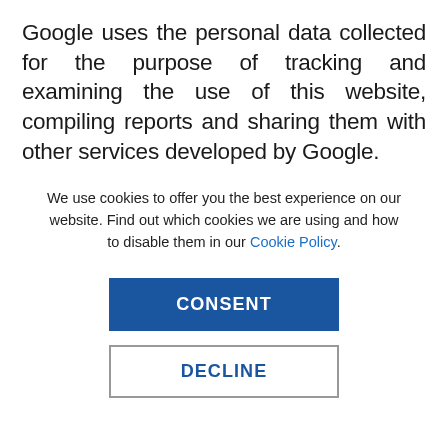Google uses the personal data collected for the purpose of tracking and examining the use of this website, compiling reports and sharing them with other services developed by Google.
We use cookies to offer you the best experience on our website. Find out which cookies we are using and how to disable them in our Cookie Policy.
CONSENT
DECLINE